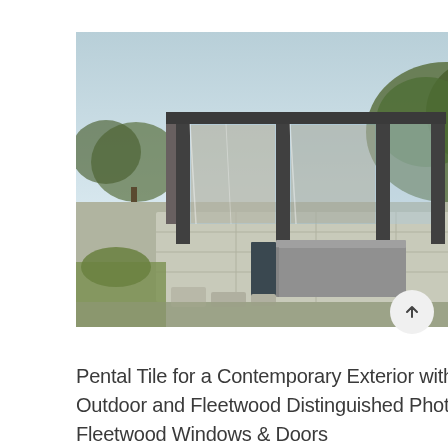[Figure (photo): Exterior photo of a contemporary modernist home with large glass walls, concrete structure, flat roof, and landscaped garden with trees and native plants. Pool or water feature visible. Clear sky in background.]
Pental Tile for a Contemporary Exterior with a Indoor Outdoor and Fleetwood Distinguished Photos by Fleetwood Windows & Doors